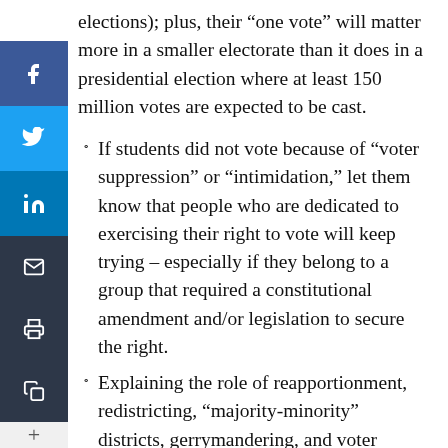elections); plus, their “one vote” will matter more in a smaller electorate than it does in a presidential election where at least 150 million votes are expected to be cast.
If students did not vote because of “voter suppression” or “intimidation,” let them know that people who are dedicated to exercising their right to vote will keep trying – especially if they belong to a group that required a constitutional amendment and/or legislation to secure the right.
Explaining the role of reapportionment, redistricting, “majority-minority” districts, gerrymandering, and voter suppression will help students understand how the voting